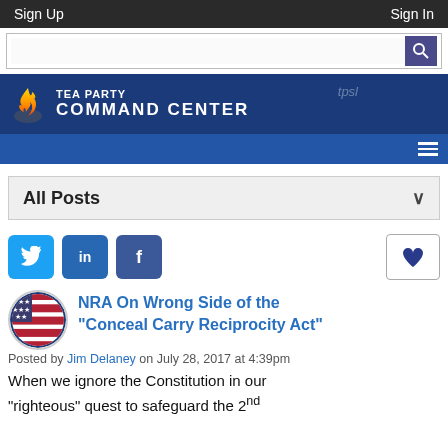Sign Up   Sign In
[Figure (screenshot): Tea Party Command Center website header banner with flame logo and site title]
All Posts
[Figure (logo): Social share buttons: Twitter, LinkedIn, Facebook, and a heart/like button]
NRA On Wrong Side of the "Conceal Carry Reciprocity Act"
Posted by Jim Delaney on July 28, 2017 at 4:39pm
When we ignore the Constitution in our “righteous” quest to safeguard the 2nd